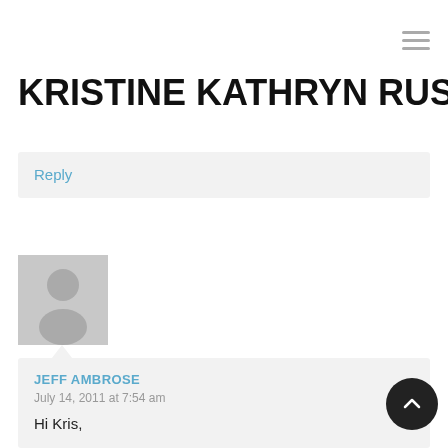KRISTINE KATHRYN RUSCH
Reply
[Figure (illustration): Generic user avatar — grey silhouette of a person on a light grey background]
JEFF AMBROSE
July 14, 2011 at 7:54 am

Hi Kris,